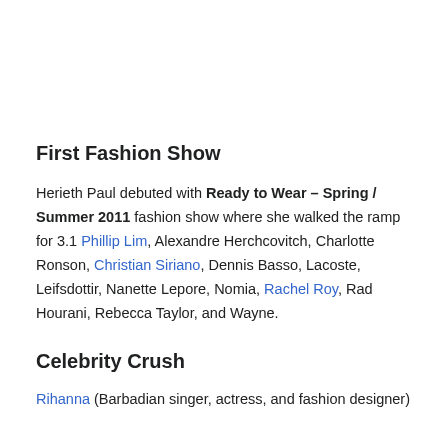First Fashion Show
Herieth Paul debuted with Ready to Wear – Spring / Summer 2011 fashion show where she walked the ramp for 3.1 Phillip Lim, Alexandre Herchcovitch, Charlotte Ronson, Christian Siriano, Dennis Basso, Lacoste, Leifsdottir, Nanette Lepore, Nomia, Rachel Roy, Rad Hourani, Rebecca Taylor, and Wayne.
Celebrity Crush
Rihanna (Barbadian singer, actress, and fashion designer)